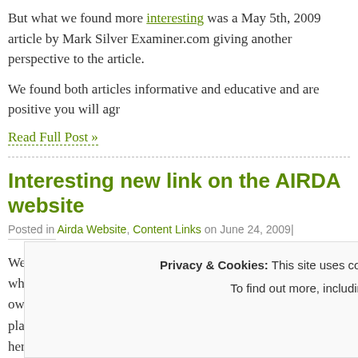But what we found more interesting was a May 5th, 2009 article by Mark Silver Examiner.com giving another perspective to the article.
We found both articles informative and educative and are positive you will agr
Read Full Post »
Interesting new link on the AIRDA website
Posted in Airda Website, Content Links on June 24, 2009|
We've got an interesting new link on the AIRDA website, where we will regularly feature interviews with member resort owners and customers of timeshare in the country as an open platform for views and feedback that should be useful to us here, and our member community of resort owners.
Privacy & Cookies: This site uses cookies. By continuing to use this website, you agree to their use. To find out more, including how to control cookies, see here: Cookie Policy
Close and accept